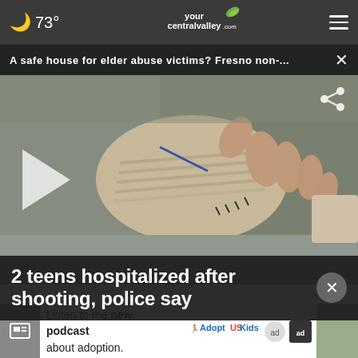🌙 73° | yourcentralvalley.com | ☰
A safe house for elder abuse victims? Fresno non-... ×
[Figure (photo): Close-up photo of a bandaged human hand resting on fabric, with medical wrap and stitches visible]
2 teens hospitalized after shooting, police say
Listen to the new podcast about adoption. Adopt US Kids [ad logo]